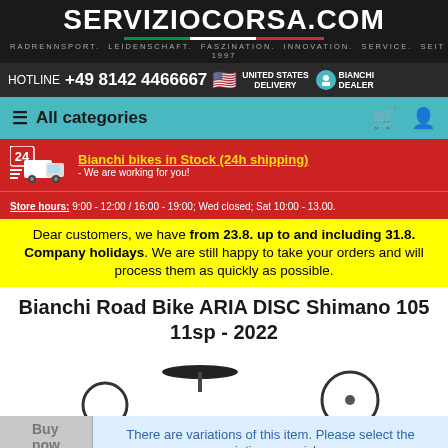ServizioCorsa.Com — RADRENNSPORT. LEIDENSCHAFT. FASZINATION. INNOVATION. SERVICE. SEIT 1997
HOTLINE +49 8142 4466667 | UNITED STATES DELIVERY | BIANCHI DEALER
☰ All categories
Bianchi bikes in Stock (24h shipping) - We are working for you!
Store hours: 9:00 - 12:00 / 16:00 - 19:00; Wed closed; Sat 10:00 - 13.00.
Dear customers, we have from 23.8. up to and including 31.8. Company holidays. We are still happy to take your orders and will process them as quickly as possible.
Bianchi Road Bike ARIA DISC Shimano 105 11sp - 2022
There are variations of this item. Please select the variation you wish.